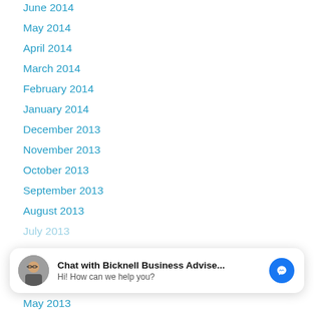June 2014
May 2014
April 2014
March 2014
February 2014
January 2014
December 2013
November 2013
October 2013
September 2013
August 2013
[Figure (screenshot): Facebook Messenger chat widget: avatar of a man with glasses, text 'Chat with Bicknell Business Advise...' and 'Hi! How can we help you?', blue messenger icon]
May 2013